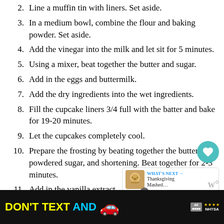2. Line a muffin tin with liners. Set aside.
3. In a medium bowl, combine the flour and baking powder. Set aside.
4. Add the vinegar into the milk and let sit for 5 minutes.
5. Using a mixer, beat together the butter and sugar.
6. Add in the eggs and buttermilk.
7. Add the dry ingredients into the wet ingredients.
8. Fill the cupcake liners 3/4 full with the batter and bake for 19-20 minutes.
9. Let the cupcakes completely cool.
10. Prepare the frosting by beating together the butter, powdered sugar, and shortening. Beat together for 2-3 minutes.
11. Add in the vanilla extract.
12. Using a decorating bag, frost the cupcakes. All you need to do is a low swirl.
[Figure (infographic): Advertisement banner: DON'T TEXT AND [car emoji] with ad badge and NHTSA logo]